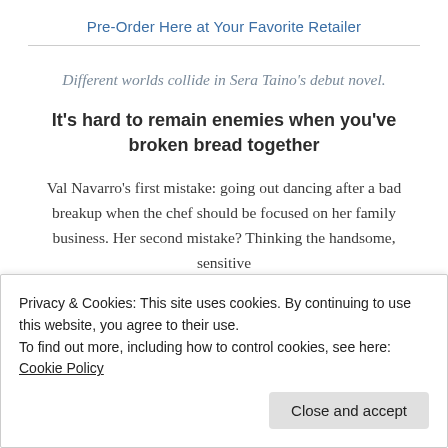Pre-Order Here at Your Favorite Retailer
Different worlds collide in Sera Taino's debut novel.
It's hard to remain enemies when you've broken bread together
Val Navarro's first mistake: going out dancing after a bad breakup when the chef should be focused on her family business. Her second mistake? Thinking the handsome, sensitive
Privacy & Cookies: This site uses cookies. By continuing to use this website, you agree to their use.
To find out more, including how to control cookies, see here: Cookie Policy
negotiations, Val wants to believe he has good